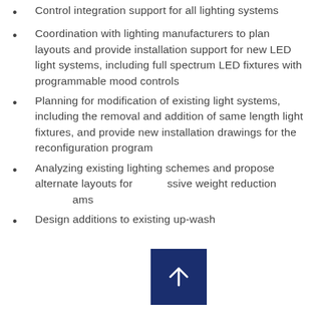Control integration support for all lighting systems
Coordination with lighting manufacturers to plan layouts and provide installation support for new LED light systems, including full spectrum LED fixtures with programmable mood controls
Planning for modification of existing light systems, including the removal and addition of same length light fixtures, and provide new installation drawings for the reconfiguration program
Analyzing existing lighting schemes and propose alternate layouts for massive weight reduction programs
Design additions to existing up-wash